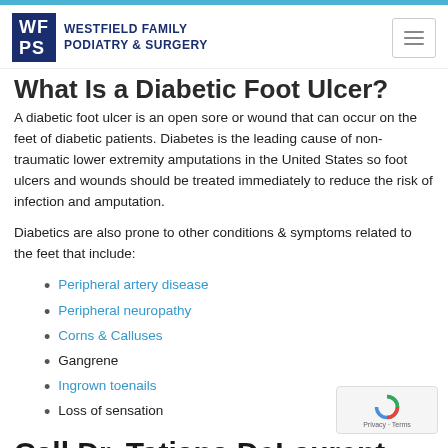WF PS WESTFIELD FAMILY PODIATRY & SURGERY
What Is a Diabetic Foot Ulcer?
A diabetic foot ulcer is an open sore or wound that can occur on the feet of diabetic patients. Diabetes is the leading cause of non-traumatic lower extremity amputations in the United States so foot ulcers and wounds should be treated immediately to reduce the risk of infection and amputation.
Diabetics are also prone to other conditions & symptoms related to the feet that include:
Peripheral artery disease
Peripheral neuropathy
Corns & Calluses
Gangrene
Ingrown toenails
Loss of sensation
Call Dr. Tatiana DeLaurent